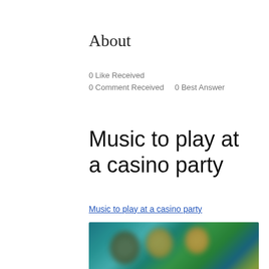About
0 Like Received
0 Comment Received    0 Best Answer
Music to play at a casino party
Music to play at a casino party
[Figure (photo): A blurry image showing animated or illustrated characters in a casino-themed scene with green and teal background tones, blurred for privacy or stylistic effect.]